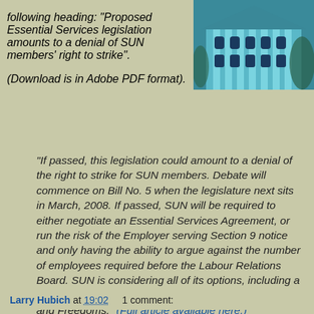following heading: "Proposed Essential Services legislation amounts to a denial of SUN members' right to strike". (Download is in Adobe PDF format).
[Figure (photo): Blue-tinted photo of a government/legislative building with columns]
"If passed, this legislation could amount to a denial of the right to strike for SUN members. Debate will commence on Bill No. 5 when the legislature next sits in March, 2008. If passed, SUN will be required to either negotiate an Essential Services Agreement, or run the risk of the Employer serving Section 9 notice and only having the ability to argue against the number of employees required before the Labour Relations Board. SUN is considering all of its options, including a legal challenge under the Canadian Charter of Rights and Freedoms." (Full article available here.)
Larry Hubich at 19:02   1 comment: